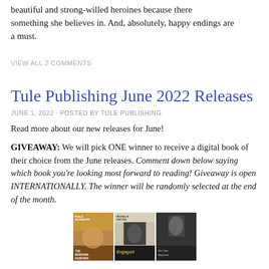beautiful and strong-willed heroines because there something she believes in. And, absolutely, happy endings are a must.
VIEW ALL 2 COMMENTS
Tule Publishing June 2022 Releases
JUNE 1, 2022 · POSTED BY TULE PUBLISHING
Read more about our new releases for June!
GIVEAWAY: We will pick ONE winner to receive a digital book of their choice from the June releases. Comment down below saying which book you're looking most forward to reading! Giveaway is open INTERNATIONALLY. The winner will be randomly selected at the end of the month.
[Figure (photo): Book covers for Tule Publishing June 2022 releases, showing three book covers side by side including The Montana Rancher by Paula Altenburg and Engaged by Michelle Dayton]